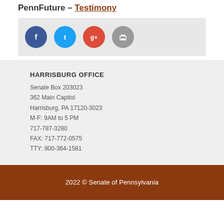PennFuture – Testimony
[Figure (infographic): Social share buttons: Facebook (blue circle), Twitter (light blue circle), Google+ (red circle), Print (gray circle)]
HARRISBURG OFFICE
Senate Box 203023
362 Main Capitol
Harrisburg, PA 17120-3023
M-F: 9AM to 5 PM
717-787-3280
FAX: 717-772-0575
TTY: 800-364-1581
2022 © Senate of Pennsylvania